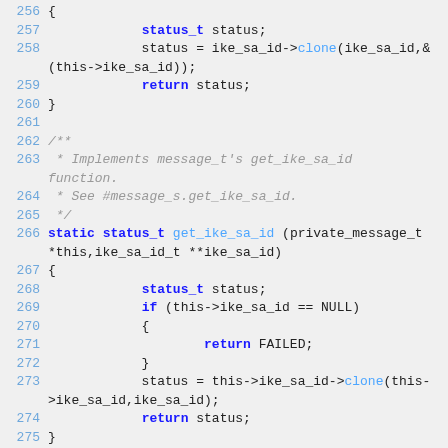[Figure (screenshot): Source code snippet showing C code lines 256-276, displaying functions related to ike_sa_id with status_t, clone calls, and get_ike_sa_id function implementation.]